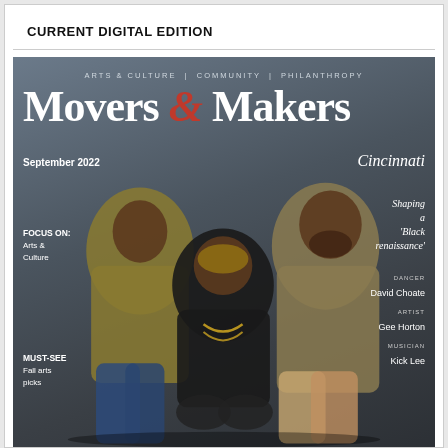CURRENT DIGITAL EDITION
[Figure (photo): Magazine cover of Movers & Makers Cincinnati, September 2022 issue. Features three Black men posed against a dark gray background. Text reads: Arts & Culture | Community | Philanthropy. Movers & Makers. September 2022, Cincinnati. Shaping a 'Black renaissance'. Dancer David Choate. Artist Gee Horton. Musician Kick Lee. Focus On: Arts & Culture. Must-See Fall arts picks.]